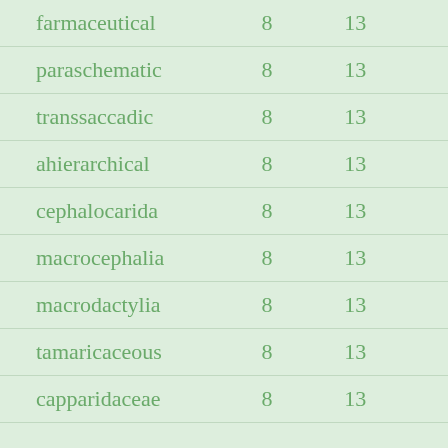| farmaceutical | 8 | 13 |
| paraschematic | 8 | 13 |
| transsaccadic | 8 | 13 |
| ahierarchical | 8 | 13 |
| cephalocarida | 8 | 13 |
| macrocephalia | 8 | 13 |
| macrodactylia | 8 | 13 |
| tamaricaceous | 8 | 13 |
| capparidaceae | 8 | 13 |
| ... | 8 | 13 |